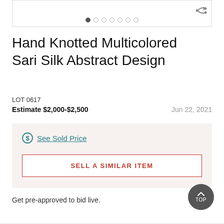[Figure (other): Image carousel placeholder with navigation dots and share icon]
Hand Knotted Multicolored Sari Silk Abstract Design
LOT 0617
Estimate $2,000-$2,500    Jun 22, 2021
See Sold Price
SELL A SIMILAR ITEM
Get pre-approved to bid live.